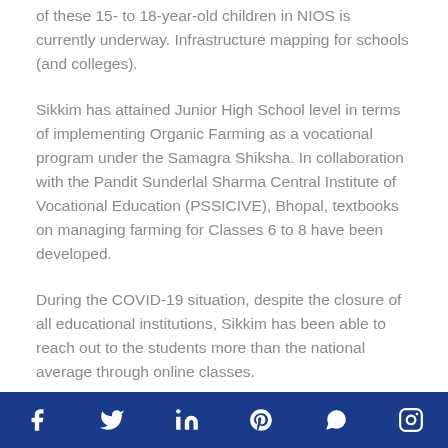of these 15- to 18-year-old children in NIOS is currently underway. Infrastructure mapping for schools (and colleges).
Sikkim has attained Junior High School level in terms of implementing Organic Farming as a vocational program under the Samagra Shiksha. In collaboration with the Pandit Sunderlal Sharma Central Institute of Vocational Education (PSSICIVE), Bhopal, textbooks on managing farming for Classes 6 to 8 have been developed.
During the COVID-19 situation, despite the closure of all educational institutions, Sikkim has been able to reach out to the students more than the national average through online classes.
Despite the shutdown of all educational facilities during
Facebook Twitter LinkedIn Pinterest WhatsApp Instagram